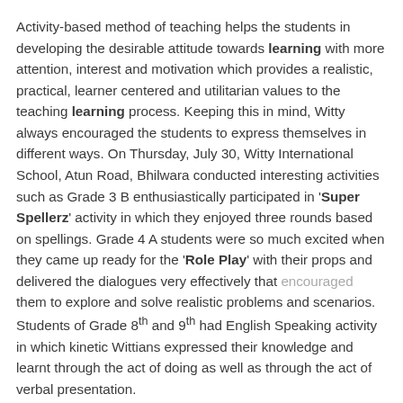Activity-based method of teaching helps the students in developing the desirable attitude towards learning with more attention, interest and motivation which provides a realistic, practical, learner centered and utilitarian values to the teaching learning process. Keeping this in mind, Witty always encouraged the students to express themselves in different ways. On Thursday, July 30, Witty International School, Atun Road, Bhilwara conducted interesting activities such as Grade 3 B enthusiastically participated in 'Super Spellerz' activity in which they enjoyed three rounds based on spellings. Grade 4 A students were so much excited when they came up ready for the 'Role Play' with their props and delivered the dialogues very effectively that encouraged them to explore and solve realistic problems and scenarios. Students of Grade 8th and 9th had English Speaking activity in which kinetic Wittians expressed their knowledge and learnt through the act of doing as well as through the act of verbal presentation.